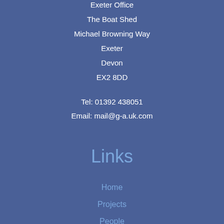Exeter Office
The Boat Shed
Michael Browning Way
Exeter
Devon
EX2 8DD
Tel: 01392 438051
Email: mail@g-a.uk.com
Links
Home
Projects
People